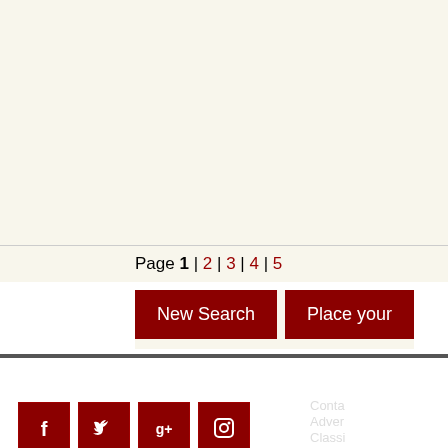Page 1 | 2 | 3 | 4 | 5
New Search   Place your
Follow Us
[Figure (illustration): Social media icons: Facebook, Twitter, Google+, Instagram]
RSS Feed
Subscribe to the newest ads by Email
Colle
Conta
Adver
Classi
Buying
Scam
Priva